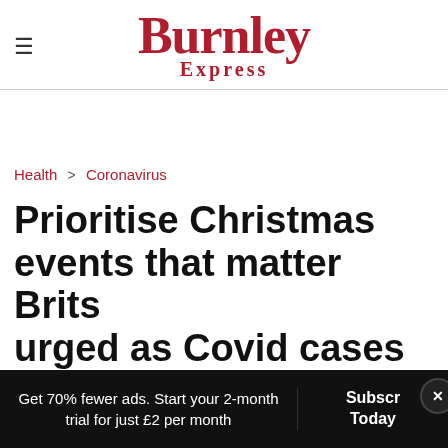Burnley Express
Health > Coronavirus
Prioritise Christmas events that matter Brits urged as Covid cases hit record high
Get 70% fewer ads. Start your 2-month trial for just £2 per month
Subscribe Today